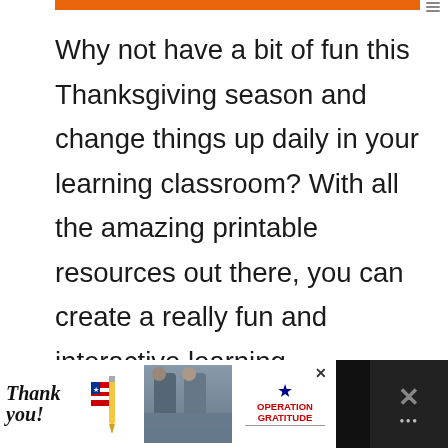[Figure (screenshot): Orange navigation bar at top of webpage with dots menu icon on right]
Why not have a bit of fun this Thanksgiving season and change things up daily in your learning classroom? With all the amazing printable resources out there, you can create a really fun and interactive learning environment for your preschool child!
[Figure (photo): Photo of worksheets with handwriting text, a red apple, and small turkey decorations at the bottom, with like/share social buttons on the left side showing 838 count]
[Figure (screenshot): Advertisement banner at bottom: Thank you military ad with Operation Gratitude logo and soldiers image on dark background]